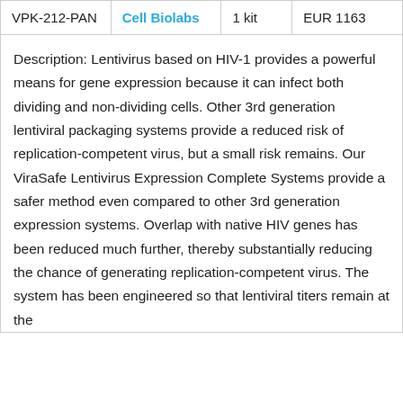| SKU | Vendor | Quantity | Price |
| --- | --- | --- | --- |
| VPK-212-PAN | Cell Biolabs | 1 kit | EUR 1163 |
Description: Lentivirus based on HIV-1 provides a powerful means for gene expression because it can infect both dividing and non-dividing cells. Other 3rd generation lentiviral packaging systems provide a reduced risk of replication-competent virus, but a small risk remains. Our ViraSafe Lentivirus Expression Complete Systems provide a safer method even compared to other 3rd generation expression systems. Overlap with native HIV genes has been reduced much further, thereby substantially reducing the chance of generating replication-competent virus. The system has been engineered so that lentiviral titers remain at the